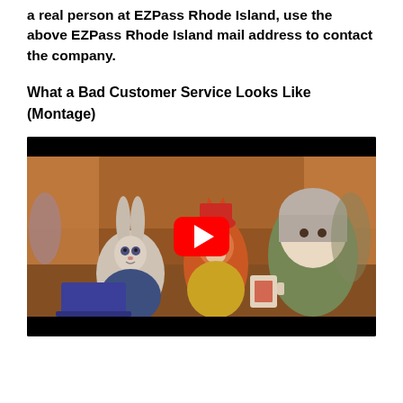a real person at EZPass Rhode Island, use the above EZPass Rhode Island mail address to contact the company.
What a Bad Customer Service Looks Like (Montage)
[Figure (screenshot): YouTube video thumbnail showing a scene from the animated movie Zootopia, with characters Judy Hopps and Nick Wilde at a counter, and a red YouTube play button overlay in the center. The video frame has black bars at top and bottom.]